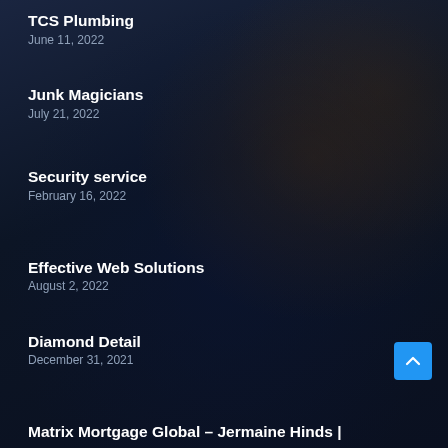TCS Plumbing
June 11, 2022
Junk Magicians
July 21, 2022
Security service
February 16, 2022
Effective Web Solutions
August 2, 2022
Diamond Detail
December 31, 2021
Matrix Mortgage Global – Jermaine Hinds |